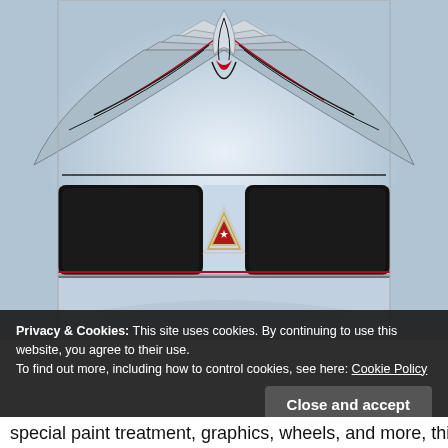[Figure (photo): Close-up of a white Pontiac Firebird Trans Am hood showing the iconic Firebird/phoenix graphic on the upper hood and the Pontiac arrowhead emblem in the center, with black headlight covers on each side and a red/silver pinstripe along the lower edge.]
Privacy & Cookies: This site uses cookies. By continuing to use this website, you agree to their use.
To find out more, including how to control cookies, see here: Cookie Policy
special paint treatment, graphics, wheels, and more, this